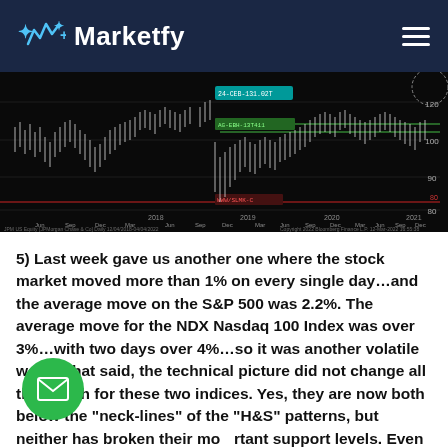Marketfy
[Figure (continuous-plot): Bloomberg finance candlestick chart of JPM US Equity (JPMorgan Chase & Co) Daily from 12/04/2018 to 04/04/2022, showing price movements from 2018 to 2022 with horizontal support and resistance lines at approximately 100, 80 levels, and annotations around 131.02 and 131.11. Dark/black background with white candlesticks and green/red horizontal lines.]
5) Last week gave us another one where the stock market moved more than 1% on every single day...and the average move on the S&P 500 was 2.2%. The average move for the NDX Nasdaq 100 Index was over 3%...with two days over 4%...so it was another volatile week. That said, the technical picture did not change all that much for these two indices. Yes, they are now both below the "neck-lines" of the "H&S" patterns, but neither has broken their most important support levels. Even tough the most important levels have not changed, we still thought it was important to highlight them again this weekend...in case any of them are